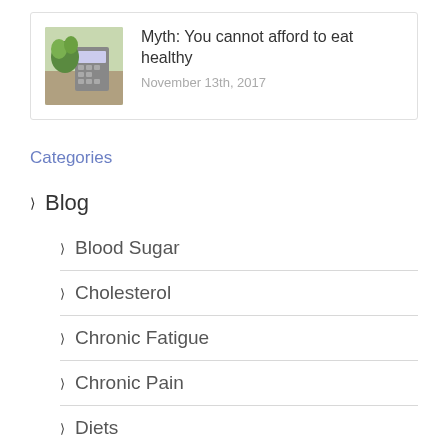[Figure (photo): Thumbnail image of vegetables and a calculator on a table]
Myth: You cannot afford to eat healthy
November 13th, 2017
Categories
Blog
Blood Sugar
Cholesterol
Chronic Fatigue
Chronic Pain
Diets